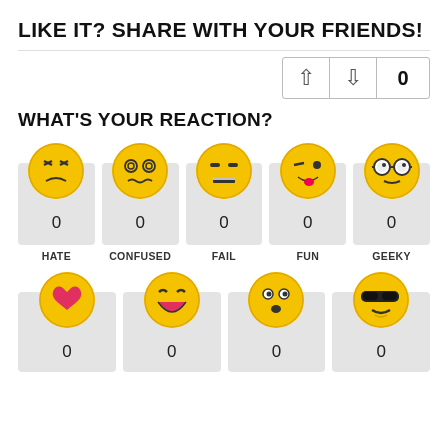LIKE IT? SHARE WITH YOUR FRIENDS!
[Figure (infographic): Vote up/down buttons with count 0]
WHAT'S YOUR REACTION?
[Figure (infographic): Row of 5 emoji reaction cards: HATE (0), CONFUSED (0), FAIL (0), FUN (0), GEEKY (0)]
[Figure (infographic): Row of 4 emoji reaction cards (partial): LOVE (0), LAUGHTER (0), SURPRISED (0), COOL (0)]